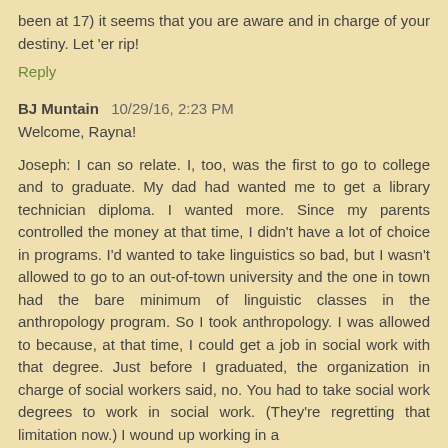been at 17) it seems that you are aware and in charge of your destiny. Let 'er rip!
Reply
BJ Muntain  10/29/16, 2:23 PM
Welcome, Rayna!
Joseph: I can so relate. I, too, was the first to go to college and to graduate. My dad had wanted me to get a library technician diploma. I wanted more. Since my parents controlled the money at that time, I didn't have a lot of choice in programs. I'd wanted to take linguistics so bad, but I wasn't allowed to go to an out-of-town university and the one in town had the bare minimum of linguistic classes in the anthropology program. So I took anthropology. I was allowed to because, at that time, I could get a job in social work with that degree. Just before I graduated, the organization in charge of social workers said, no. You had to take social work degrees to work in social work. (They're regretting that limitation now.) I wound up working in a